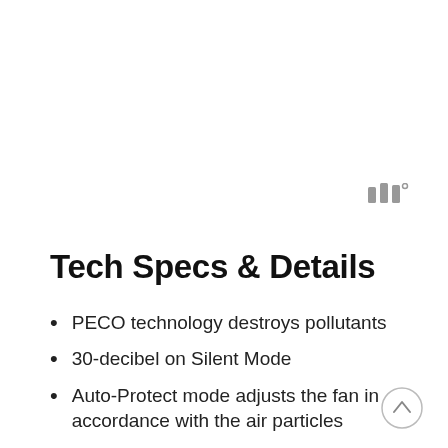[Figure (logo): Three vertical bars icon with a small superscript degree symbol, gray colored, resembling a signal/wave icon]
Tech Specs & Details
PECO technology destroys pollutants
30-decibel on Silent Mode
Auto-Protect mode adjusts the fan in accordance with the air particles
Designed for rooms up to 250 square feet